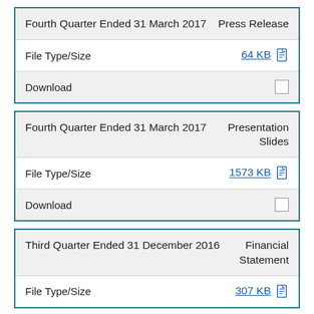| Document | Type |
| --- | --- |
| Fourth Quarter Ended 31 March 2017 | Press Release |
| File Type/Size | 64 KB |
| Download |  |
| Document | Type |
| --- | --- |
| Fourth Quarter Ended 31 March 2017 | Presentation Slides |
| File Type/Size | 1573 KB |
| Download |  |
| Document | Type |
| --- | --- |
| Third Quarter Ended 31 December 2016 | Financial Statement |
| File Type/Size | 307 KB |